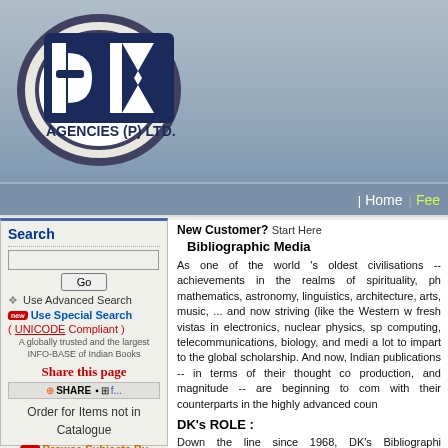[Figure (logo): DK Agencies (P) Ltd. logo with circular emblem and company name]
| Home | Feed
Search
Use Advanced Search
new Use Special Search
( UNICODE Compliant )
A globally trusted and the largest INFO-BASE of Indian Books
Share this page
SHARE
Order for Items not in Catalogue
new Browse Subjects By
New Customer? Start Here
Bibliographic Media
As one of the world 's oldest civilisations -- achievements in the realms of spirituality, ph mathematics, astronomy, linguistics, architecture, arts, music, ... and now striving (like the Western w fresh vistas in electronics, nuclear physics, sp computing, telecommunications, biology, and medi a lot to impart to the global scholarship. And now, Indian publications -- in terms of their thought co production, and magnitude -- are beginning to com with their counterparts in the highly advanced coun
DK's ROLE :
Down the line since 1968, DK's Bibliographi periodically producing to the context